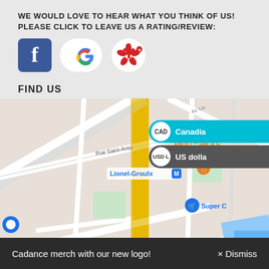WE WOULD LOVE TO HEAR WHAT YOU THINK OF US! PLEASE CLICK TO LEAVE US A RATING/REVIEW:
[Figure (logo): Facebook, Google, and Yelp logos for reviews]
[Figure (other): Currency selector overlay showing CAD (Canadian dollar) and USD (US dollar) options]
FIND US
[Figure (map): Google Maps screenshot showing Lionel-Groulx metro area in Montreal, with landmarks including Barley Bar, Marché Atwater, Super C, H20 Adventure, and streets Rue Saint-Antoine, Rue Saint-Jacques near Saint-Henri neighborhood]
Cadance merch with our new logo!  × Dismiss